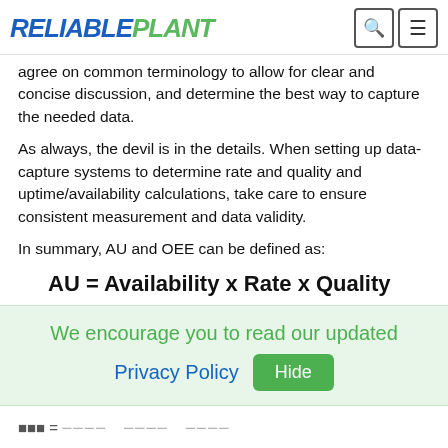RELIABLEPLANT
agree on common terminology to allow for clear and concise discussion, and determine the best way to capture the needed data.
As always, the devil is in the details. When setting up data-capture systems to determine rate and quality and uptime/availability calculations, take care to ensure consistent measurement and data validity.
In summary, AU and OEE can be defined as: